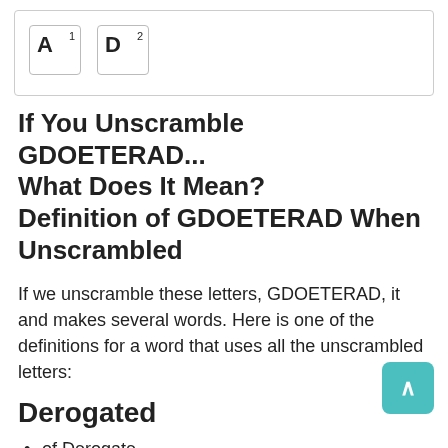[Figure (other): Two Scrabble-style letter tiles showing A with superscript 1 and D with superscript 2]
If You Unscramble GDOETERAD... What Does It Mean? Definition of GDOETERAD When Unscrambled
If we unscramble these letters, GDOETERAD, it and makes several words. Here is one of the definitions for a word that uses all the unscrambled letters:
Derogated
of Derogate
Click here for the full  meaning of Derogated
Is  Derogated a Scrabble Word  ?